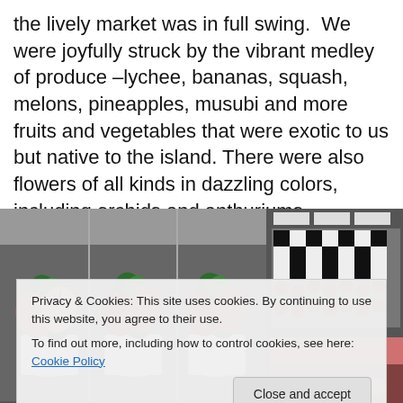the lively market was in full swing.  We were joyfully struck by the vibrant medley of produce –lychee, bananas, squash, melons, pineapples, musubi and more fruits and vegetables that were exotic to us but native to the island. There were also flowers of all kinds in dazzling colors, including orchids and anthuriums.
[Figure (photo): Two photos side by side: left shows colorful anthurium flowers in white pots at a market stall; right shows assorted market goods including what appear to be flower leis or produce arranged on trays, with small signs/labels visible.]
Privacy & Cookies: This site uses cookies. By continuing to use this website, you agree to their use.
To find out more, including how to control cookies, see here: Cookie Policy
[Figure (photo): Bottom row of three market photos partially visible: left shows red/pink round fruits (lychee or similar), center shows green produce, right shows colorful fruits.]